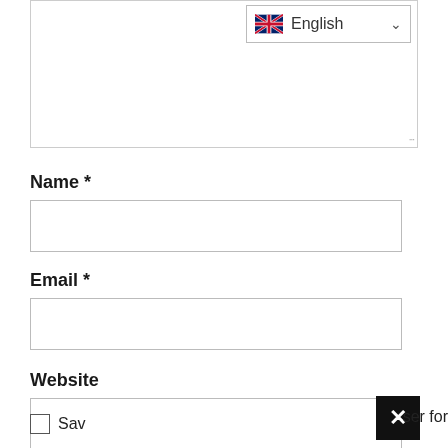[Figure (screenshot): Textarea with English language selector dropdown in top-right corner and resize handle at bottom-right]
Name *
[Figure (screenshot): Empty text input field for Name]
Email *
[Figure (screenshot): Empty text input field for Email]
Website
[Figure (screenshot): Empty text input field for Website]
Sav
[Figure (screenshot): Black X close button]
ser for